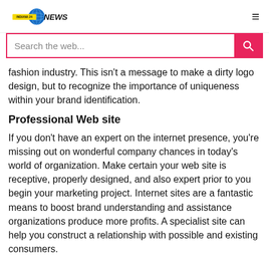Indiana 24 News
fashion industry. This isn't a message to make a dirty logo design, but to recognize the importance of uniqueness within your brand identification.
Professional Web site
If you don't have an expert on the internet presence, you're missing out on wonderful company chances in today's world of organization. Make certain your web site is receptive, properly designed, and also expert prior to you begin your marketing project. Internet sites are a fantastic means to boost brand understanding and assistance organizations produce more profits. A specialist site can help you construct a relationship with possible and existing consumers.